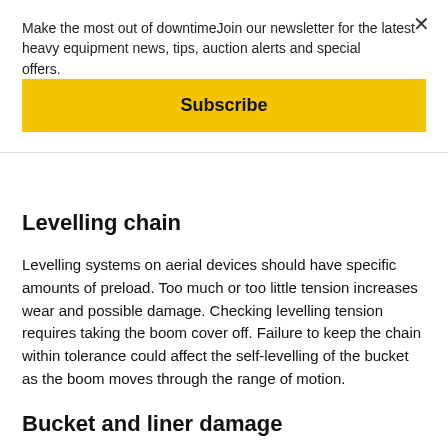Make the most out of downtimeJoin our newsletter for the latest heavy equipment news, tips, auction alerts and special offers.
Subscribe
Levelling chain
Levelling systems on aerial devices should have specific amounts of preload.  Too much or too little tension increases wear and possible damage.  Checking levelling tension requires taking the boom cover off. Failure to keep the chain within tolerance could affect the self-levelling of the bucket as the boom moves through the range of motion.
Bucket and liner damage